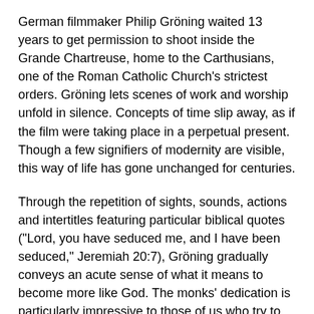German filmmaker Philip Gröning waited 13 years to get permission to shoot inside the Grande Chartreuse, home to the Carthusians, one of the Roman Catholic Church's strictest orders. Gröning lets scenes of work and worship unfold in silence. Concepts of time slip away, as if the film were taking place in a perpetual present. Though a few signifiers of modernity are visible, this way of life has gone unchanged for centuries.
Through the repetition of sights, sounds, actions and intertitles featuring particular biblical quotes ("Lord, you have seduced me, and I have been seduced," Jeremiah 20:7), Gröning gradually conveys an acute sense of what it means to become more like God. The monks' dedication is particularly impressive to those of us who try to take the shortcut to transcendence. (J. Anderson, EYE WEEKLY)